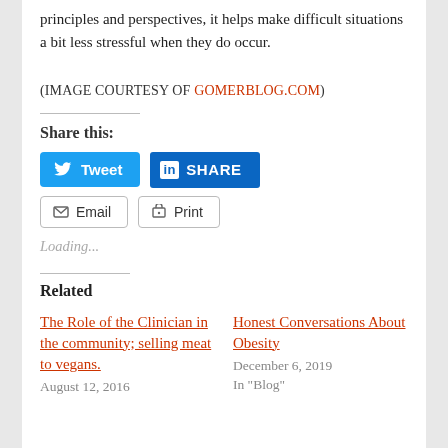principles and perspectives, it helps make difficult situations a bit less stressful when they do occur.
(IMAGE COURTESY OF GOMERBLOG.COM)
Share this:
Tweet
SHARE
Email
Print
Loading...
Related
The Role of the Clinician in the community; selling meat to vegans.
August 12, 2016
Honest Conversations About Obesity
December 6, 2019
In "Blog"